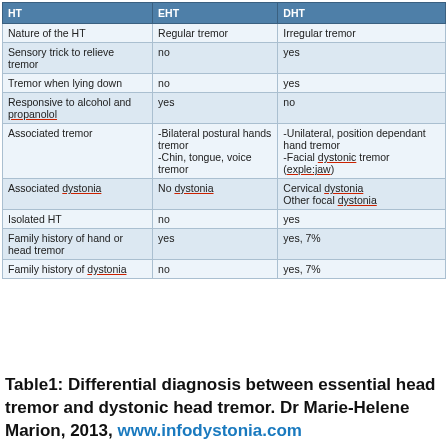| HT | EHT | DHT |
| --- | --- | --- |
| Nature of the HT | Regular tremor | Irregular tremor |
| Sensory trick to relieve tremor | no | yes |
| Tremor when lying down | no | yes |
| Responsive to alcohol and propanolol | yes | no |
| Associated tremor | -Bilateral postural hands tremor
-Chin, tongue, voice tremor | -Unilateral, position dependant hand tremor
-Facial dystonic tremor (exple:jaw) |
| Associated dystonia | No dystonia | Cervical dystonia
Other focal dystonia |
| Isolated HT | no | yes |
| Family history of hand or head tremor | yes | yes, 7% |
| Family history of dystonia | no | yes, 7% |
Table1: Differential diagnosis between essential head tremor and dystonic head tremor. Dr Marie-Helene Marion, 2013, www.infodystonia.com